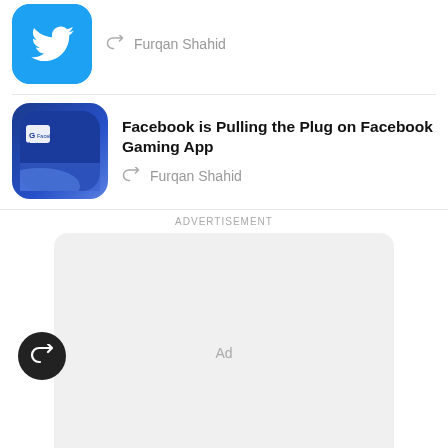[Figure (screenshot): Twitter app icon (blue with white bird) partially visible at top]
Furqan Shahid
[Figure (screenshot): Facebook Gaming app icon (blue gradient with Facebook Gaming logo)]
Facebook is Pulling the Plug on Facebook Gaming App
Furqan Shahid
ADVERTISEMENT
Ad